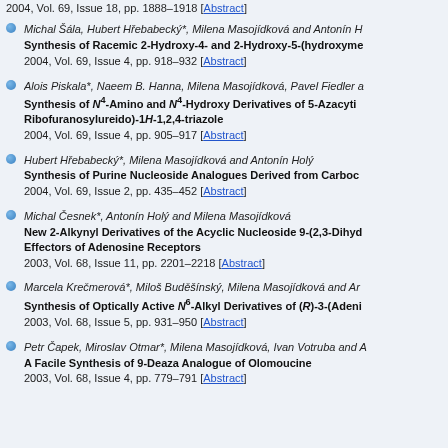2004, Vol. 69, Issue 18, pp. 1888–1918 [Abstract]
Michal Šála, Hubert Hřebabecký*, Milena Masojídková and Antonín H… | Synthesis of Racemic 2-Hydroxy-4- and 2-Hydroxy-5-(hydroxyme… | 2004, Vol. 69, Issue 4, pp. 918–932 [Abstract]
Alois Piskala*, Naeem B. Hanna, Milena Masojídková, Pavel Fiedler a… | Synthesis of N4-Amino and N4-Hydroxy Derivatives of 5-Azacyti… Ribofuranosylureido)-1H-1,2,4-triazole | 2004, Vol. 69, Issue 4, pp. 905–917 [Abstract]
Hubert Hřebabecký*, Milena Masojídková and Antonín Holý | Synthesis of Purine Nucleoside Analogues Derived from Carboc… | 2004, Vol. 69, Issue 2, pp. 435–452 [Abstract]
Michal Česnek*, Antonín Holý and Milena Masojídková | New 2-Alkynyl Derivatives of the Acyclic Nucleoside 9-(2,3-Dihyd… Effectors of Adenosine Receptors | 2003, Vol. 68, Issue 11, pp. 2201–2218 [Abstract]
Marcela Krečmerová*, Miloš Buděšínský, Milena Masojídková and Ar… | Synthesis of Optically Active N6-Alkyl Derivatives of (R)-3-(Adeni… | 2003, Vol. 68, Issue 5, pp. 931–950 [Abstract]
Petr Čapek, Miroslav Otmar*, Milena Masojídková, Ivan Votruba and A… | A Facile Synthesis of 9-Deaza Analogue of Olomoucine | 2003, Vol. 68, Issue 4, pp. 779–791 [Abstract]